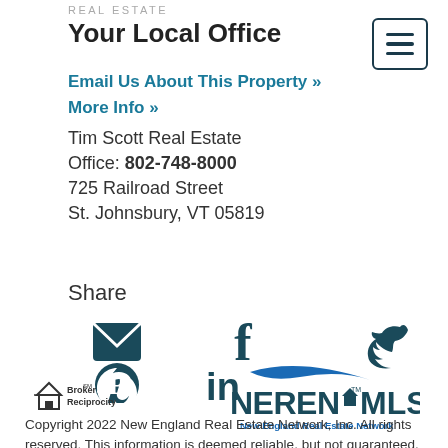REAL ESTATE
Your Local Office
Email Us About This Property »
More Info »
Tim Scott Real Estate
Office: 802-748-8000
725 Railroad Street
St. Johnsbury, VT 05819
Share
[Figure (infographic): Social sharing icons: email (envelope), Pinterest, Facebook (f), LinkedIn (in), Twitter (bird)]
[Figure (logo): Broker Reciprocity logo with house icon]
[Figure (logo): NEREN MLS New England Real Estate Network logo]
Copyright 2022 New England Real Estate Network, Inc. All rights reserved. This information is deemed reliable, but not guaranteed. The data relating to